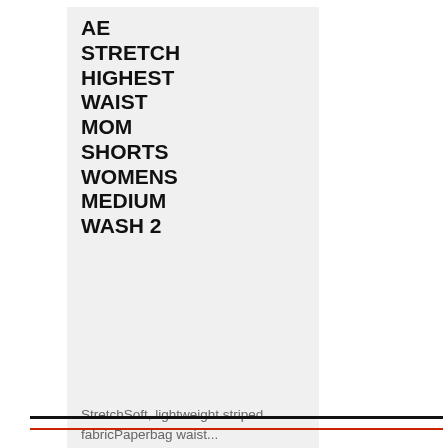AE STRETCH HIGHEST WAIST MOM SHORTS WOMENS MEDIUM WASH 2
StretchSoft, lightweight striped fabricPaperbag waist...
$49.95
MORE DETAILS
[Figure (other): Five orange/red star rating icons]